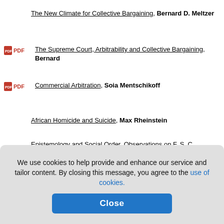The New Climate for Collective Bargaining, Bernard D. Meltzer
PDF The Supreme Court, Arbitrability and Collective Bargaining, Bernard...
PDF Commercial Arbitration, Soia Mentschikoff
African Homicide and Suicide, Max Rheinstein
Epistemology and Social Order. Observations on F. S. C. Northrop. Experience, Max Rheinstein
PDF Fraud on the Widow's Share, Max Rheinstein
...ioser Ideen...
...scheidung i...
...Method of R...
The Opinion Game and the Danger of Stereotypes, Hans Zeisel
We use cookies to help provide and enhance our service and tailor content. By closing this message, you agree to the use of cookies.